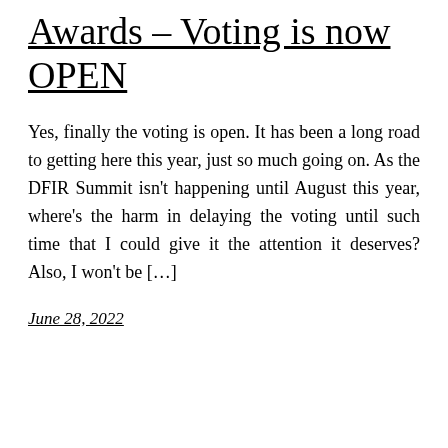Awards – Voting is now OPEN
Yes, finally the voting is open. It has been a long road to getting here this year, just so much going on. As the DFIR Summit isn't happening until August this year, where's the harm in delaying the voting until such time that I could give it the attention it deserves? Also, I won't be […]
June 28, 2022